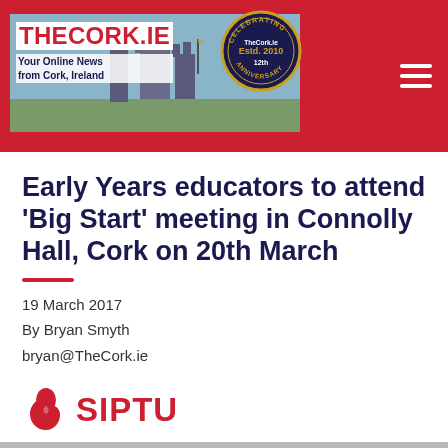THECORK.IE — Your Online News from Cork, Ireland
Early Years educators to attend 'Big Start' meeting in Connolly Hall, Cork on 20th March
19 March 2017
By Bryan Smyth
bryan@TheCork.ie
[Figure (logo): SIPTU logo with hand icon and red SIPTU text]
[Figure (photo): Partial photo of protesters or crowd at bottom of page]